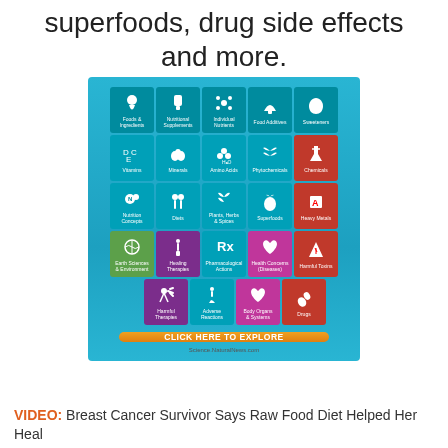superfoods, drug side effects and more.
[Figure (infographic): Grid of 23 category icons on a blue background covering: Foods & Ingredients, Nutritional Supplements, Individual Nutrients, Food Additives, Sweeteners, Vitamins, Minerals, Amino Acids, Phytochemicals, Chemicals, Nutrition Concepts, Diets, Plants Herbs & Spices, Superfoods, Heavy Metals, Earth Sciences & Environment, Healing Therapies, Pharmacological Actions, Health Concerns (Diseases), Harmful Toxins, Harmful Therapies, Adverse Reactions, Body Organs & Systems, Drugs. With a 'CLICK HERE TO EXPLORE' button and Science.NaturalNews.com URL.]
VIDEO: Breast Cancer Survivor Says Raw Food Diet Helped Her Heal